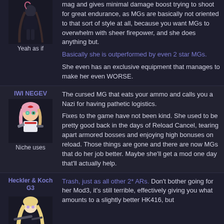mag and gives minimal damage boost trying to shoot for great endurance, as MGs are basically not oriented to that sort of style at all, because you want MGs to overwhelm with sheer firepower, and she does anything but.
Basically she is outperformed by even 2 star MGs.
She even has an exclusive equipment that manages to make her even WORSE.
Yeah as if
IWI NEGEV
The cursed MG that eats your ammo and calls you a Nazi for having pathetic logistics.
Fixes to the game have not been kind. She used to be pretty good back in the days of Reload Cancel, tearing apart armored bosses and enjoying high bonuses on reload. Those things are gone and there are now MGs that do her job better. Maybe she'll get a mod one day that'll actually help.
Niche uses
Heckler & Koch G3
Trash, just as all other 2* ARs. Don't bother going for her Mod3, it's still terrible, effectively giving you what amounts to a slightly better HK416, but